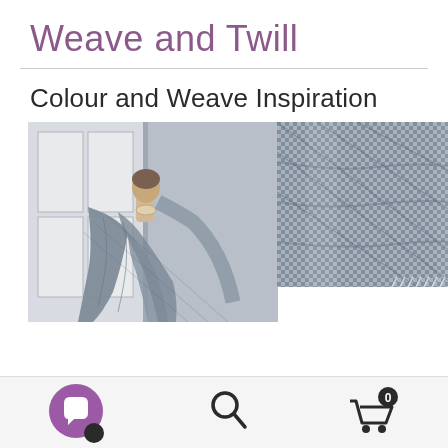Weave and Twill
Colour and Weave Inspiration
[Figure (photo): Two photos side by side showing a woven gray fabric scarf draped on a mannequin (left) and a close-up detail of the woven textile texture (right)]
Navigation footer with chat, search, and cart icons